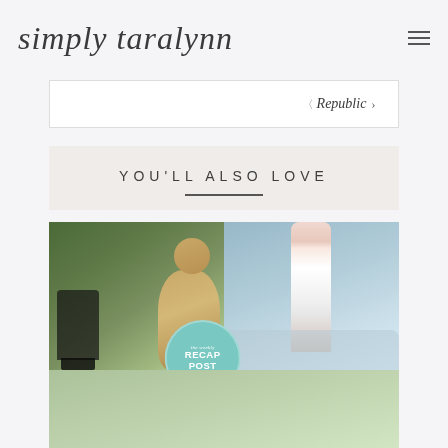simply taralynn
Republic >
YOU'LL ALSO LOVE
[Figure (photo): Blog post thumbnails showing a stroller with a golden doodle dog, and a child by water, with a teal circular 'the weekly RECAP' badge overlay]
[Figure (photo): Partial bottom image showing a outdoor/nature scene, partially cut off]